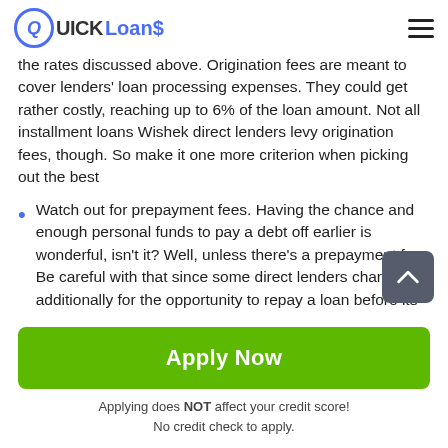Quick Loans
the rates discussed above. Origination fees are meant to cover lenders' loan processing expenses. They could get rather costly, reaching up to 6% of the loan amount. Not all installment loans Wishek direct lenders levy origination fees, though. So make it one more criterion when picking out the best
Watch out for prepayment fees. Having the chance and enough personal funds to pay a debt off earlier is wonderful, isn't it? Well, unless there's a prepayment f... Be careful with that since some direct lenders char... additionally for the opportunity to repay a loan before its...
Apply Now
Applying does NOT affect your credit score!
No credit check to apply.